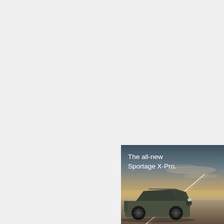[Figure (photo): Kia Sportage X-Pro advertisement showing the vehicle on a flat desert/salt flat landscape with a dramatic sky. White text reads 'The all-new Sportage X-Pro.' with a diagonal white line design element. The SUV is shown in a dark olive/grey color on the lower right portion of the image.]